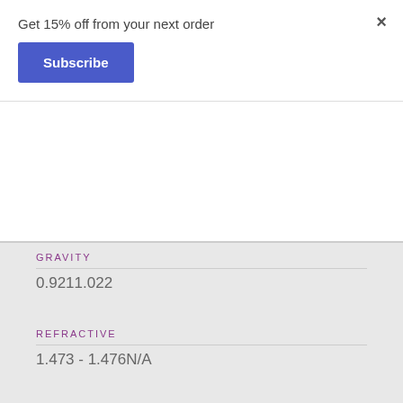Get 15% off from your next order
Subscribe
×
GRAVITY
0.9211.022
REFRACTIVE
1.473 - 1.476N/A
REFRACTIVE
1.4741.526
OPTICAL